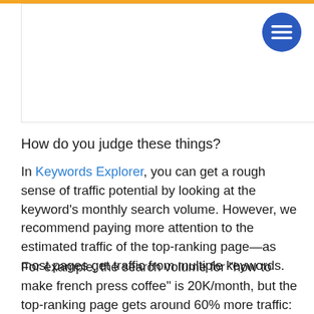[Figure (screenshot): White header box with orange top bar and blue circular hamburger menu button in top right corner]
How do you judge these things?
In Keywords Explorer, you can get a rough sense of traffic potential by looking at the keyword’s monthly search volume. However, we recommend paying more attention to the estimated traffic of the top-ranking page—as most pages get traffic from multiple keywords.
For example, the search volume for “how to make french press coffee” is 20K/month, but the top-ranking page gets around 60% more traffic: